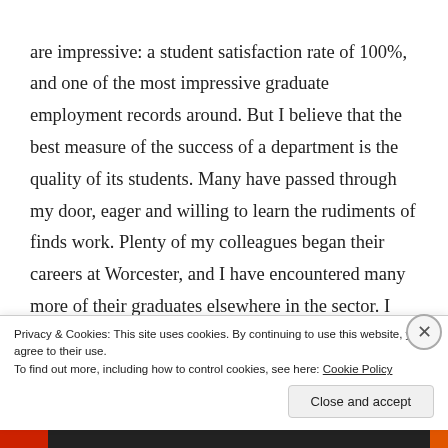are impressive: a student satisfaction rate of 100%, and one of the most impressive graduate employment records around. But I believe that the best measure of the success of a department is the quality of its students. Many have passed through my door, eager and willing to learn the rudiments of finds work. Plenty of my colleagues began their careers at Worcester, and I have encountered many more of their graduates elsewhere in the sector. I can honestly say I've never met a bad one. And that is entirely down to the passion and care of their brilliant staff; their level of personal investment in their students should be the envy of less endowed counterparts
Privacy & Cookies: This site uses cookies. By continuing to use this website, you agree to their use.
To find out more, including how to control cookies, see here: Cookie Policy
Close and accept